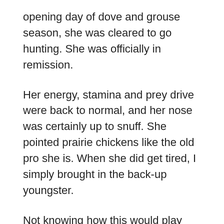opening day of dove and grouse season, she was cleared to go hunting. She was officially in remission.
Her energy, stamina and prey drive were back to normal, and her nose was certainly up to snuff. She pointed prairie chickens like the old pro she is. When she did get tired, I simply brought in the back-up youngster.
Not knowing how this would play out, in March I'd also ordered another Small Munsterlander pup. Komet was born in late April and came home in late June. He and Phantom are first cousins, and he immediately boosted her spirits - or at least gave her something different to think about.
I initially alternated dogs, but eventually started hunting them together. Komet went along with us on a